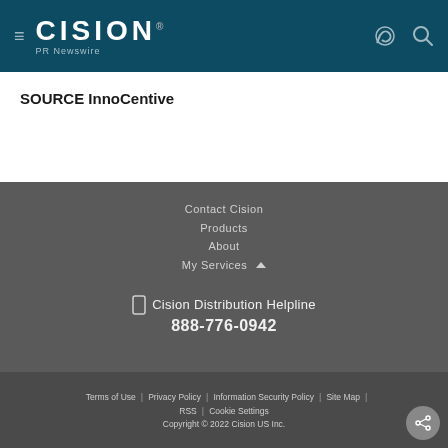Cision PR Newswire
SOURCE InnoCentive
Contact Cision
Products
About
My Services
Cision Distribution Helpline
888-776-0942
Terms of Use | Privacy Policy | Information Security Policy | Site Map | RSS | Cookie Settings
Copyright © 2022 Cision US Inc.